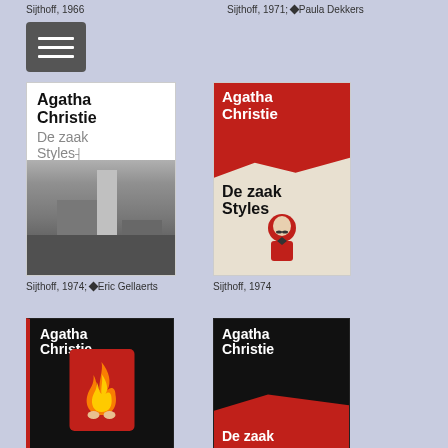Sijthoff, 1966
Sijthoff, 1971; ♦ Paula Dekkers
[Figure (photo): Hamburger menu icon button]
[Figure (photo): Book cover: Agatha Christie - De zaak Styles, Sijthoff 1974, grayscale with building photo, design by Eric Gellaerts]
[Figure (photo): Book cover: Agatha Christie - De zaak Styles, Sijthoff 1974, red and beige with portrait illustration]
Sijthoff, 1974; ♦ Eric Gellaerts
Sijthoff, 1974
[Figure (photo): Book cover: Agatha Christie, black with red card and flame design, red left border]
[Figure (photo): Book cover: Agatha Christie, black with red area at bottom, white author text]